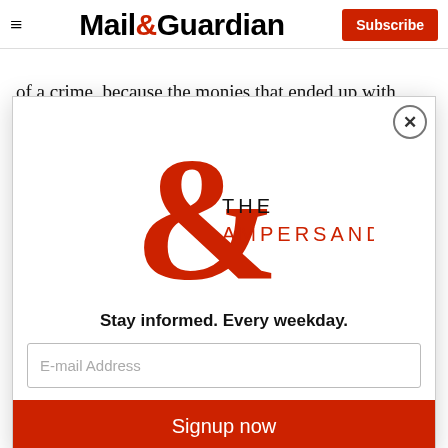Mail&Guardian | Subscribe
of a crime, because the monies that ended up with Brian are gratuitous payments — they were paid without any justification. In law enforcement circles, th... u... ju... c... fr...
T... la... w... v... h s...
[Figure (logo): The Ampersand newsletter modal popup with large red ampersand logo, text 'THE AMPERSAND', tagline 'Stay informed. Every weekday.', email input field, and Signup now button]
Stay informed. Every weekday.
E-mail Address
Signup now